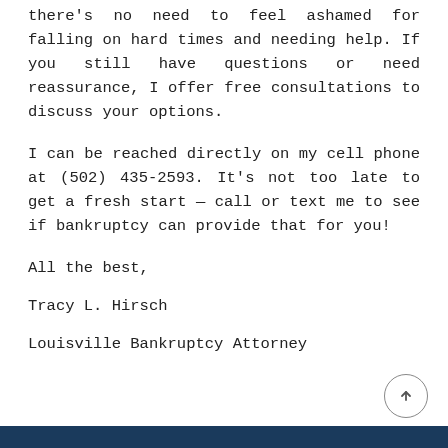there's no need to feel ashamed for falling on hard times and needing help. If you still have questions or need reassurance, I offer free consultations to discuss your options.
I can be reached directly on my cell phone at (502) 435-2593. It's not too late to get a fresh start — call or text me to see if bankruptcy can provide that for you!
All the best,
Tracy L. Hirsch
Louisville Bankruptcy Attorney